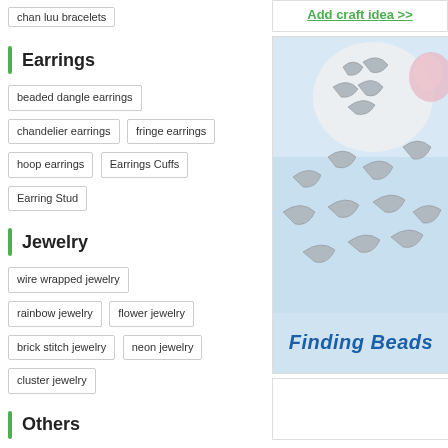chan luu bracelets
Earrings
beaded dangle earrings
chandelier earrings
fringe earrings
hoop earrings
Earrings Cuffs
Earring Stud
Jewelry
wire wrapped jewelry
rainbow jewelry
flower jewelry
brick stitch jewelry
neon jewelry
cluster jewelry
Others
brooches
home decor
tutorials
Add craft idea >>
[Figure (photo): Finding Beads product photo showing silver curved tube beads on a light blue background, with a white plate of beads and pink flowers visible at top. Text 'Finding Beads' in bold blue italic at the bottom.]